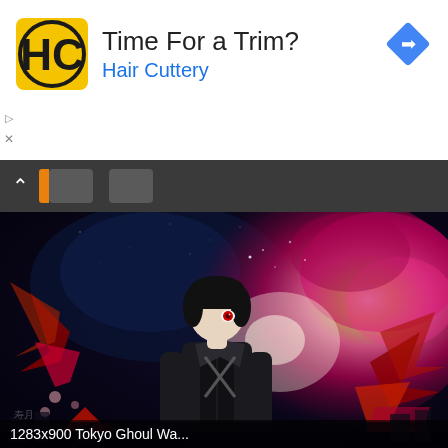[Figure (screenshot): Advertisement banner for Hair Cuttery with HC logo, text 'Time For a Trim?' and 'Hair Cuttery' in blue, and a blue diamond share icon top right. Small play and X indicators on left edge.]
[Figure (screenshot): Dark browser toolbar strip with chevron up button, orange tab indicator, and two gray tab buttons.]
[Figure (illustration): Anime illustration of a dark-haired character with one red eye, wearing a dark jacket, surrounded by dramatic red, pink, magenta and white energy/wing effects against a dark cosmic background. Tokyo Ghoul fan art.]
1283x900 Tokyo Ghoul Wa...